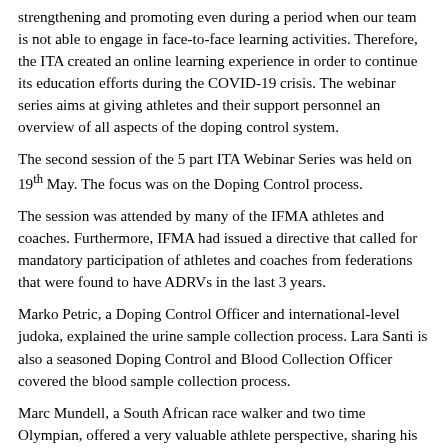strengthening and promoting even during a period when our team is not able to engage in face-to-face learning activities. Therefore, the ITA created an online learning experience in order to continue its education efforts during the COVID-19 crisis. The webinar series aims at giving athletes and their support personnel an overview of all aspects of the doping control system.
The second session of the 5 part ITA Webinar Series was held on 19th May. The focus was on the Doping Control process.
The session was attended by many of the IFMA athletes and coaches. Furthermore, IFMA had issued a directive that called for mandatory participation of athletes and coaches from federations that were found to have ADRVs in the last 3 years.
Marko Petric, a Doping Control Officer and international-level judoka, explained the urine sample collection process. Lara Santi is also a seasoned Doping Control and Blood Collection Officer covered the blood sample collection process.
Marc Mundell, a South African race walker and two time Olympian, offered a very valuable athlete perspective, sharing his experiences and tips for athletes and their entourage. From an experienced athlete very familiar with the doping control process, Marc's recommendation to athletes and athlete support personnel (coaches, doctors and team personnel) is to ensure athletes are